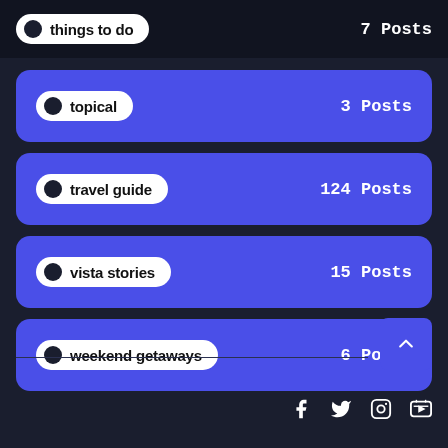things to do — 7 Posts
topical — 3 Posts
travel guide — 124 Posts
vista stories — 15 Posts
weekend getaways — 6 Posts
Social icons: Facebook, Twitter, Instagram, YouTube